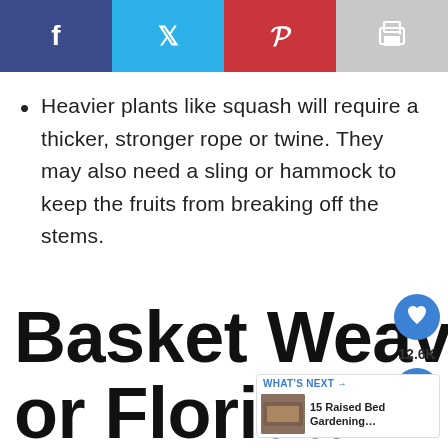[Figure (screenshot): Social sharing bar with Facebook, Twitter, Pinterest, and print buttons]
Heavier plants like squash will require a thicker, stronger rope or twine. They may also need a sling or hammock to keep the fruits from breaking off the stems.
Basket Weave or Florida Weave Plant